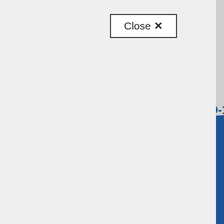[Figure (screenshot): Cookie consent modal overlay on a government website (BSA). Left panel shows a light grey modal with a Close X button, cookie consent text, an accept cookies button, and a divider line. Right side shows navigation links (BSA Home, Sitemap, Contact us, Work with us, Coronavirus (COVID-19)) on a grey background, and footer links (Privacy, Cookies, Accessibility statement, Terms and conditions, Freedom of Information) on a blue background. The two areas are separated by a diagonal cut.]
Close X
site works properly. We'd also
formation about how you use our
us to improve our website and
cookies we use, visit our
BSA Home
Sitemap
Contact us
Work with us
Coronavirus (COVID-19)
ies
Privacy
Cookies
bility statement
and conditions
n of Information
our website to function. Our